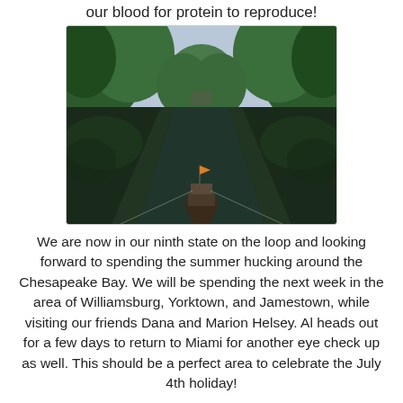our blood for protein to reproduce!
[Figure (photo): A boat traveling through a calm, narrow waterway flanked by dense green trees on both sides. The water is dark and reflective. View is from the bow of the boat looking forward. A small orange flag is visible on the bow.]
We are now in our ninth state on the loop and looking forward to spending the summer hucking around the Chesapeake Bay. We will be spending the next week in the area of Williamsburg, Yorktown, and Jamestown, while visiting our friends Dana and Marion Helsey.  Al heads out for a few days to return to Miami for another eye check up as well.  This should be a perfect area to celebrate the July 4th holiday!